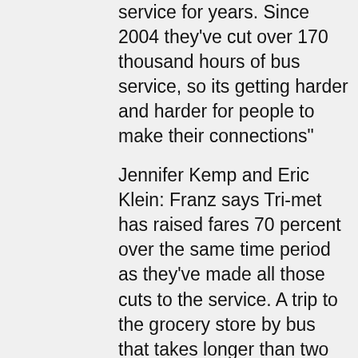service for years. Since 2004 they've cut over 170 thousand hours of bus service, so its getting harder and harder for people to make their connections"
Jennifer Kemp and Eric Klein: Franz says Tri-met has raised fares 70 percent over the same time period as they've made all those cuts to the service. A trip to the grocery store by bus that takes longer than two hours now costs 5 dollars.
Jennifer Kemp and Eric Klein: OPAL had proposed their own alternative budget for Tri-Met,